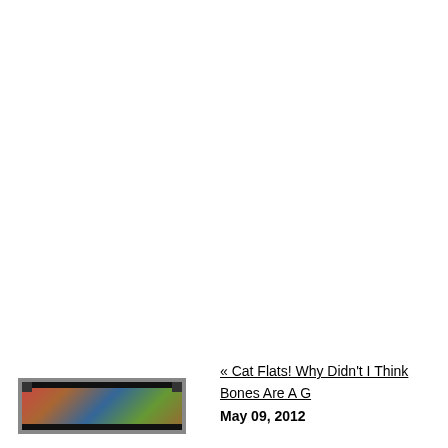« Cat Flats! Why Didn't I Think
Bones Are A
[Figure (photo): Small thumbnail image showing a colorful scene with dark border/frame strips at top and bottom]
May 09, 2012